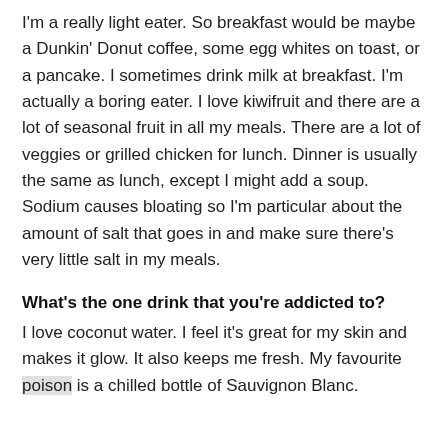I'm a really light eater. So breakfast would be maybe a Dunkin' Donut coffee, some egg whites on toast, or a pancake. I sometimes drink milk at breakfast. I'm actually a boring eater. I love kiwifruit and there are a lot of seasonal fruit in all my meals. There are a lot of veggies or grilled chicken for lunch. Dinner is usually the same as lunch, except I might add a soup. Sodium causes bloating so I'm particular about the amount of salt that goes in and make sure there's very little salt in my meals.
What's the one drink that you're addicted to?
I love coconut water. I feel it's great for my skin and makes it glow. It also keeps me fresh. My favourite poison is a chilled bottle of Sauvignon Blanc.